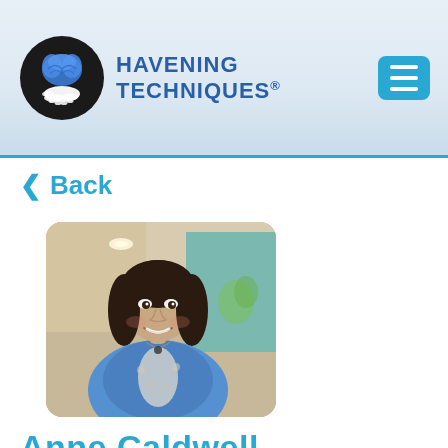HAVENING TECHNIQUES®
< Back
[Figure (photo): Profile photo of Anne Caldwell, a woman with dark hair smiling, wearing a blue patterned top, photographed indoors in a lobby or corridor.]
Anne Caldwell